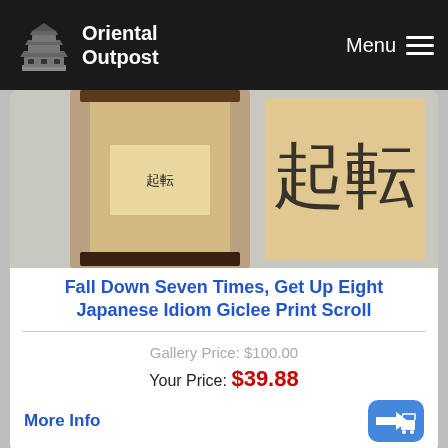Oriental Outpost — Menu
[Figure (photo): Japanese scroll artwork showing 'Fall Down Seven Times Get Up Eight' calligraphy, with both a full scroll and close-up detail view]
Fall Down Seven Times, Get Up Eight Japanese Idiom Giclee Print Scroll
Gallery Price: $100.00
Your Price: $39.88
More Info
[Figure (photo): Second Japanese scroll artwork showing calligraphy with brushstroke circle (enso), depicting seven-eight fall-rise theme, with scroll and large detail view]